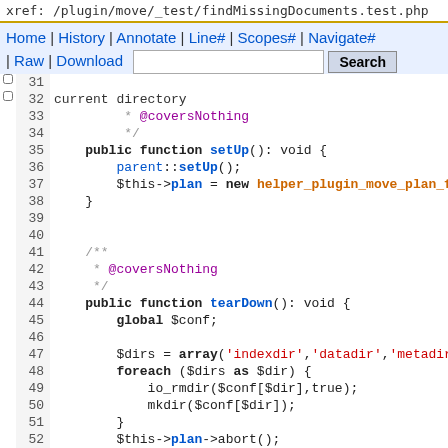xref: /plugin/move/_test/findMissingDocuments.test.php
Home | History | Annotate | Line# | Scopes# | Navigate# | Raw | Download   Search
31
32 current directory
33     * @coversNothing
34     */
35     public function setUp(): void {
36         parent::setUp();
37         $this->plan = new helper_plugin_move_plan_fi
38     }
39
40
41     /**
42     * @coversNothing
43     */
44     public function tearDown(): void {
45         global $conf;
46
47         $dirs = array('indexdir','datadir','metadir'
48         foreach ($dirs as $dir) {
49             io_rmdir($conf[$dir],true);
50             mkdir($conf[$dir]);
51         }
52         $this->plan->abort();
53         parent::tearDown();
54     }
55